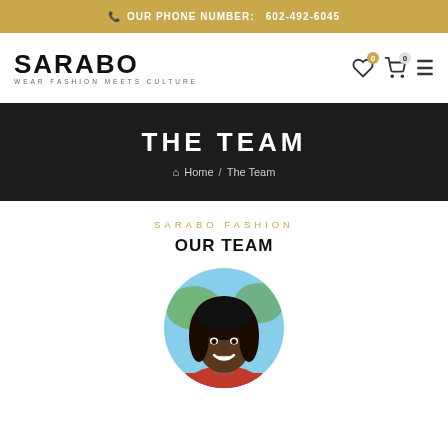OUR PHONE NUMBER: 602-492-6045
[Figure (logo): SARABO WEAR FASHION MEETS CULTURE logo]
THE TEAM
Home / The Team
SARABO FASHION
OUR TEAM
[Figure (photo): Circular portrait photo of a young woman with braids, smiling, wearing red, with a blurred outdoor background]